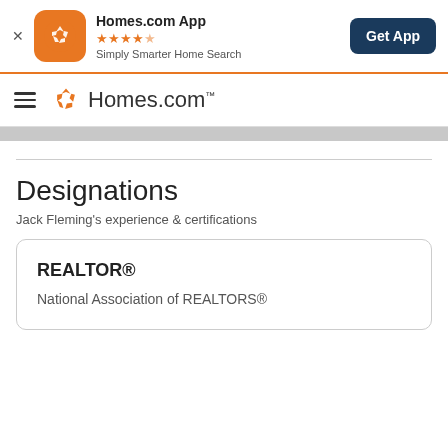[Figure (screenshot): Homes.com app banner with orange icon, star rating, 'Simply Smarter Home Search' tagline, and 'Get App' button]
[Figure (logo): Homes.com navigation bar with hamburger menu and orange pinwheel logo]
Designations
Jack Fleming's experience & certifications
REALTOR®
National Association of REALTORS®